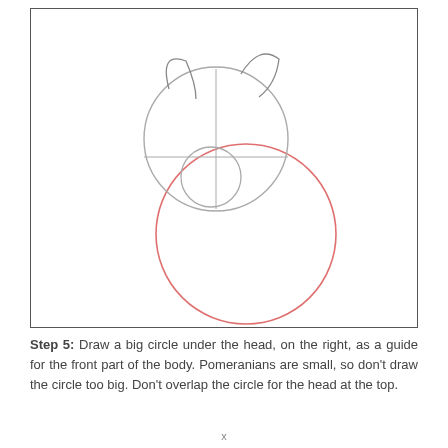[Figure (illustration): Step-by-step drawing guide showing a Pomeranian dog in progress. Gray construction lines show: two ear triangles at top, a large head circle, a horizontal guideline across the middle of the head, a smaller chin circle overlapping the bottom of the head. A new large pink/red circle is drawn below and to the right as the body guide circle.]
Step 5: Draw a big circle under the head, on the right, as a guide for the front part of the body. Pomeranians are small, so don't draw the circle too big. Don't overlap the circle for the head at the top.